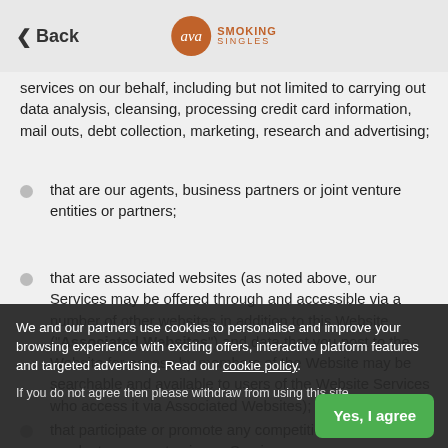Back | Smoking Singles
services on our behalf, including but not limited to carrying out data analysis, cleansing, processing credit card information, mail outs, debt collection, marketing, research and advertising;
that are our agents, business partners or joint venture entities or partners;
that are associated websites (as noted above, our Services may be offered through and accessible via a number of other websites in addition to this Website (“Associated Websites”) and data that you post to the Website for access by members of the Website may be searchable and available to users of the Website Services who access it via Associated Websites);
that participate or promote any competition that we conduct or promote via our Services or
if we are under a duty to disclose or share your p...
We and our partners use cookies to personalise and improve your browsing experience with exciting offers, interactive platform features and targeted advertising. Read our cookie policy.
If you do not agree then please withdraw from using this site.